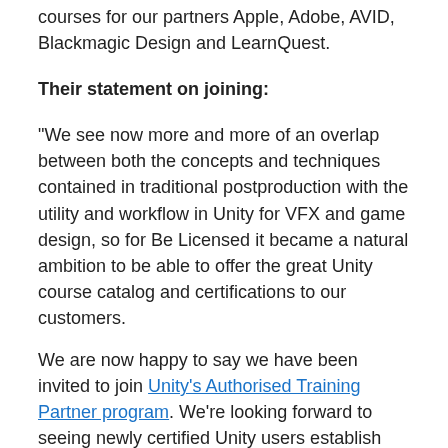courses for our partners Apple, Adobe, AVID, Blackmagic Design and LearnQuest.
Their statement on joining:
"We see now more and more of an overlap between both the concepts and techniques contained in traditional postproduction with the utility and workflow in Unity for VFX and game design, so for Be Licensed it became a natural ambition to be able to offer the great Unity course catalog and certifications to our customers.
We are now happy to say we have been invited to join Unity's Authorised Training Partner program. We're looking forward to seeing newly certified Unity users establish themselves more and more as a valuable resource in the constantly growing market for game design/graphics, VR experiences and post-production,